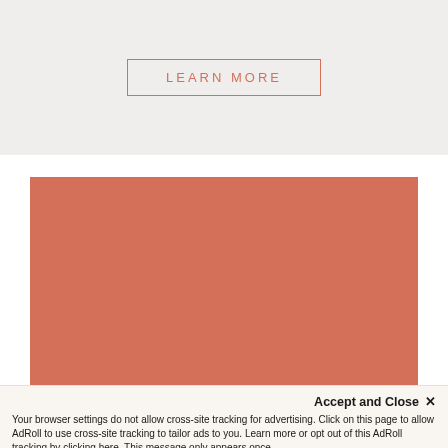[Figure (screenshot): Top section with light beige/gray background containing a 'LEARN MORE' button with coral/salmon colored border and text, letter-spaced uppercase]
[Figure (other): Large solid coral/salmon colored rectangle block]
Accept and Close ✕
Your browser settings do not allow cross-site tracking for advertising. Click on this page to allow AdRoll to use cross-site tracking to tailor ads to you. Learn more or opt out of this AdRoll tracking by clicking here. This message only appears once.